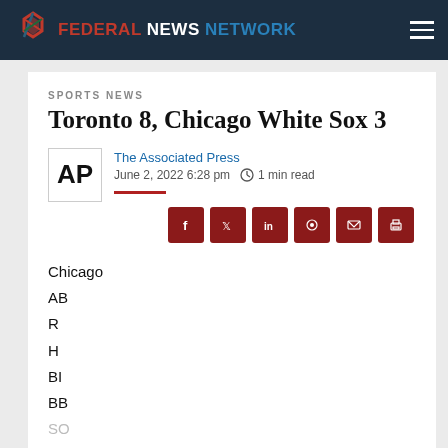FEDERAL NEWS NETWORK
SPORTS NEWS
Toronto 8, Chicago White Sox 3
The Associated Press
June 2, 2022 6:28 pm  1 min read
Chicago
AB
R
H
BI
BB
SO
Avg.